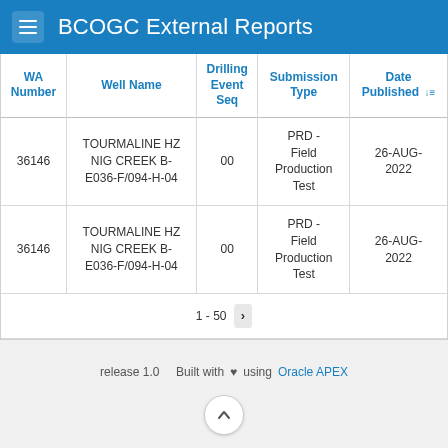BCOGC External Reports
| WA Number | Well Name | Drilling Event Seq | Submission Type | Date Published |
| --- | --- | --- | --- | --- |
| 36146 | TOURMALINE HZ NIG CREEK B-E036-F/094-H-04 | 00 | PRD - Field Production Test | 26-AUG-2022 |
| 36146 | TOURMALINE HZ NIG CREEK B-E036-F/094-H-04 | 00 | PRD - Field Production Test | 26-AUG-2022 |
release 1.0    Built with ♥ using Oracle APEX